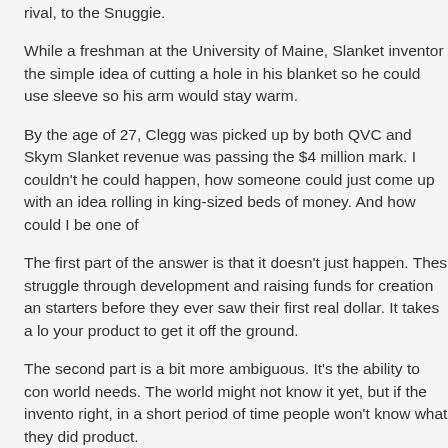rival, to the Snuggie.
While a freshman at the University of Maine, Slanket inventor the simple idea of cutting a hole in his blanket so he could use sleeve so his arm would stay warm.
By the age of 27, Clegg was picked up by both QVC and Skym Slanket revenue was passing the $4 million mark. I couldn't he could happen, how someone could just come up with an idea rolling in king-sized beds of money. And how could I be one of
The first part of the answer is that it doesn't just happen. Thes struggle through development and raising funds for creation an starters before they ever saw their first real dollar. It takes a lo your product to get it off the ground.
The second part is a bit more ambiguous. It's the ability to con world needs. The world might not know it yet, but if the invento right, in a short period of time people won't know what they did product.